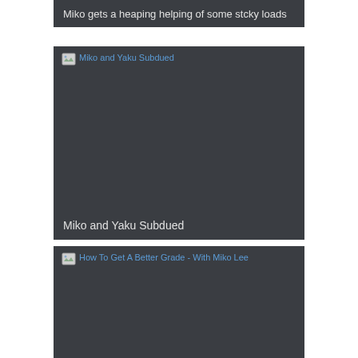Miko gets a heaping helping of some stcky loads
[Figure (screenshot): Broken image placeholder with alt text 'Miko and Yaku Subdued' shown as a dark card with image load failure icon and blue alt text at top, caption 'Miko and Yaku Subdued' at bottom]
[Figure (screenshot): Broken image placeholder with alt text 'How To Get A Better Grade - With Miko Lee' shown as a dark card with image load failure icon and blue alt text at top]